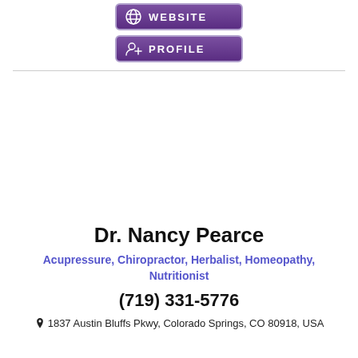[Figure (other): Purple WEBSITE button with globe icon]
[Figure (other): Purple PROFILE button with person/add icon]
Dr. Nancy Pearce
Acupressure, Chiropractor, Herbalist, Homeopathy, Nutritionist
(719) 331-5776
1837 Austin Bluffs Pkwy, Colorado Springs, CO 80918, USA